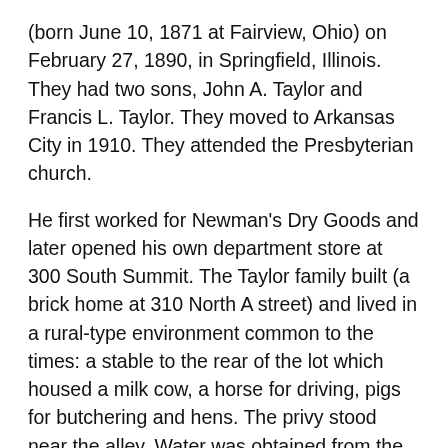(born June 10, 1871 at Fairview, Ohio) on February 27, 1890, in Springfield, Illinois. They had two sons, John A. Taylor and Francis L. Taylor. They moved to Arkansas City in 1910. They attended the Presbyterian church.
He first worked for Newman's Dry Goods and later opened his own department store at 300 South Summit. The Taylor family built (a brick home at 310 North A street) and lived in a rural-type environment common to the times: a stable to the rear of the lot which housed a milk cow, a horse for driving, pigs for butchering and hens. The privy stood near the alley. Water was obtained from the cistern or well. The balance of the space was planted to garden.
Sam Warmbrodt had moved to Arkansas City and was the manager of the Empire Steam Laundry for Charles N. Hunt. It stood next door north of the Gladstone (Elmo)